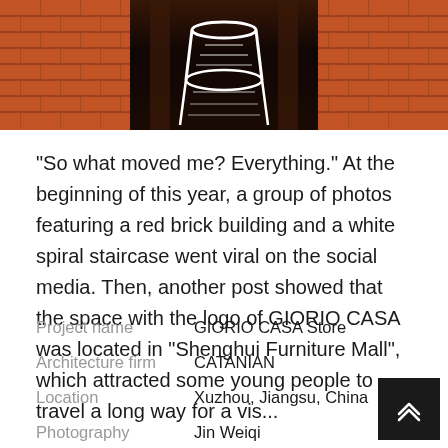[Figure (photo): Photo of a red brick building exterior with a white spiral staircase visible in the dark center corridor, brick walls on both sides]
“So what moved me? Everything.” At the beginning of this year, a group of photos featuring a red brick building and a white spiral staircase went viral on the social media. Then, another post showed that the space with the logo of GIORIO CASA was located in “Shenghui Furniture Mall”, which attracted some young people to travel a long way for a vis...
Project name   GIORIO CASA Store
Architecture firm   CATANIAN
Location   Xuzhou, Jiangsu, China
Photography   Jin Weiqi